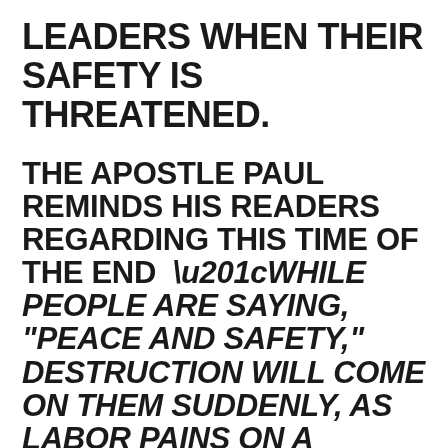LEADERS WHEN THEIR SAFETY IS THREATENED.
THE APOSTLE PAUL REMINDS HIS READERS REGARDING THIS TIME OF THE END “WHILE PEOPLE ARE SAYING, "PEACE AND SAFETY," DESTRUCTION WILL COME ON THEM SUDDENLY, AS LABOR PAINS ON A PREGNANT WOMAN, AND THEY WILL NOT ESCAPE”  THAT IS FROM 1 THES 5:3